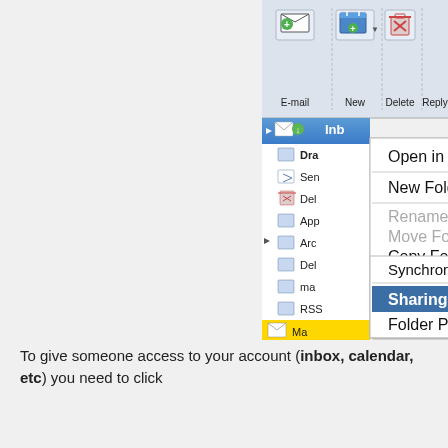[Figure (screenshot): Microsoft Outlook context menu screenshot showing right-click menu on Inbox folder with options: Open in New Window, New Folder, Rename Folder (greyed), Move Folder... (greyed), Copy Folder..., Delete (greyed), Mark All as Read, Delete All, Apply Rule (with submenu arrow), Synchronize Now, Sharing Permissions... (highlighted in blue), Folder Properties.... The folder panel shows Drafts, Sent, Deleted, Apple, Archive, Deleted, mailbox, RSS, Sent, Sent, Trash folders. Top toolbar shows E-mail, New, Delete, Reply buttons.]
To give someone access to your account (inbox, calendar, etc) you need to click